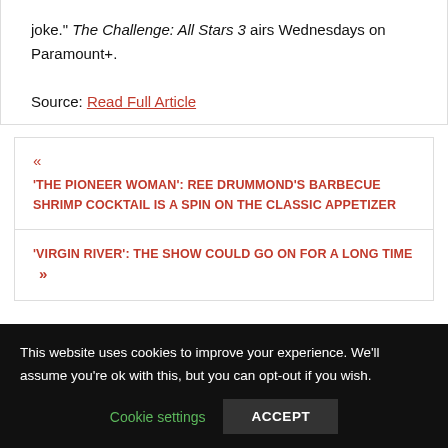joke." The Challenge: All Stars 3 airs Wednesdays on Paramount+.

Source: Read Full Article
« 'THE PIONEER WOMAN': REE DRUMMOND'S BARBECUE SHRIMP COCKTAIL IS A SPIN ON THE CLASSIC APPETIZER
'VIRGIN RIVER': THE SHOW COULD GO ON FOR A LONG TIME »
This website uses cookies to improve your experience. We'll assume you're ok with this, but you can opt-out if you wish. Cookie settings ACCEPT